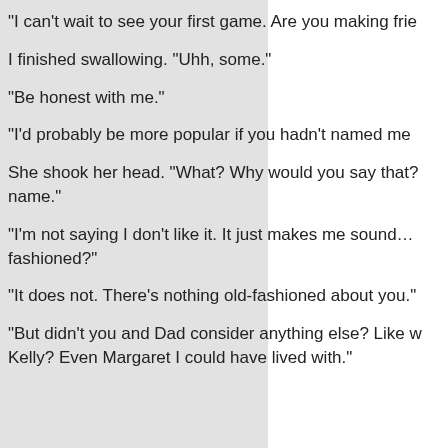“I can’t wait to see your first game. Are you making frie…
I finished swallowing. “Uhh, some.”
“Be honest with me.”
“I’d probably be more popular if you hadn’t named me…
She shook her head. “What? Why would you say that?… name.”
“I’m not saying I don’t like it. It just makes me sound… fashioned?”
“It does not. There’s nothing old-fashioned about you.”
“But didn’t you and Dad consider anything else? Like w… Kelly? Even Margaret I could have lived with.”